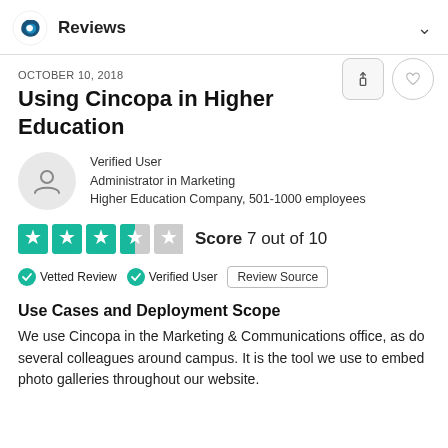Reviews
OCTOBER 10, 2018
Using Cincopa in Higher Education
Verified User
Administrator in Marketing
Higher Education Company, 501-1000 employees
Score 7 out of 10
Vetted Review   Verified User   Review Source
Use Cases and Deployment Scope
We use Cincopa in the Marketing & Communications office, as do several colleagues around campus. It is the tool we use to embed photo galleries throughout our website.